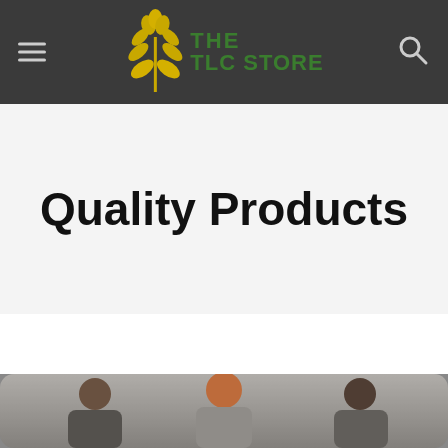THE TLC STORE
Quality Products
[Figure (photo): Partial photo of people at bottom of page]